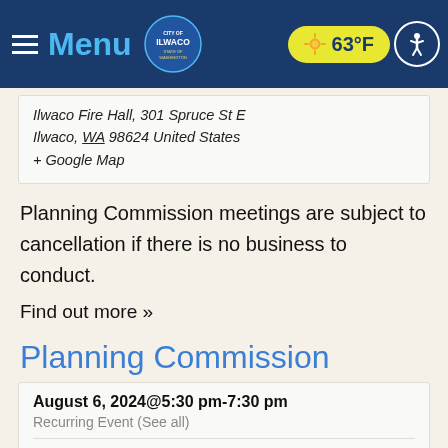Menu | City of Ilwaco | 63°F
Ilwaco Fire Hall, 301 Spruce St E
Ilwaco, WA 98624 United States
+ Google Map
Planning Commission meetings are subject to cancellation if there is no business to conduct.
Find out more »
Planning Commission
August 6, 2024@5:30 pm-7:30 pm
Recurring Event (See all)
Ilwaco Fire Hall, 301 Spruce St E
Ilwaco, WA 98624 United States